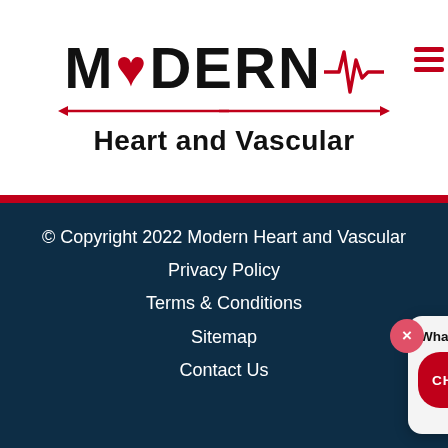[Figure (logo): Modern Heart and Vascular logo with heart symbol in the 'O' and ECG line graphic, red arrows on either side of the ECG line]
© Copyright 2022 Modern Heart and Vascular
Privacy Policy
Terms & Conditions
Sitemap
Contact Us
[Figure (screenshot): Chat widget popup showing close button (X), text 'What brings you here today?', 'CHAT LIVE NOW' red button, and agent avatar photo]
4.9